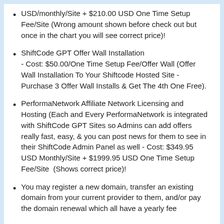USD/monthly/Site + $210.00 USD One Time Setup Fee/Site (Wrong amount shown before check out but once in the chart you will see correct price)!
ShiftCode GPT Offer Wall Installation - Cost: $50.00/One Time Setup Fee/Offer Wall (Offer Wall Installation To Your Shiftcode Hosted Site - Purchase 3 Offer Wall Installs & Get The 4th One Free).
PerformaNetwork Affiliate Network Licensing and Hosting (Each and Every PerformaNetwork is integrated with ShiftCode GPT Sites so Admins can add offers really fast, easy, & you can post news for them to see in their ShiftCode Admin Panel as well - Cost: $349.95 USD Monthly/Site + $1999.95 USD One Time Setup Fee/Site  (Shows correct price)!
You may register a new domain, transfer an existing domain from your current provider to them, and/or pay the domain renewal which all have a yearly fee